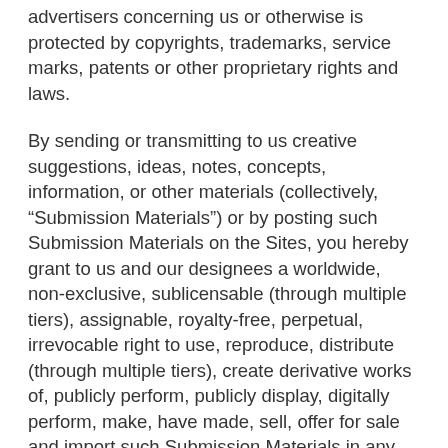advertisers concerning us or otherwise is protected by copyrights, trademarks, service marks, patents or other proprietary rights and laws.
By sending or transmitting to us creative suggestions, ideas, notes, concepts, information, or other materials (collectively, “Submission Materials”) or by posting such Submission Materials on the Sites, you hereby grant to us and our designees a worldwide, non-exclusive, sublicensable (through multiple tiers), assignable, royalty-free, perpetual, irrevocable right to use, reproduce, distribute (through multiple tiers), create derivative works of, publicly perform, publicly display, digitally perform, make, have made, sell, offer for sale and import such Submission Materials in any media now known or hereafter devised, for any purpose